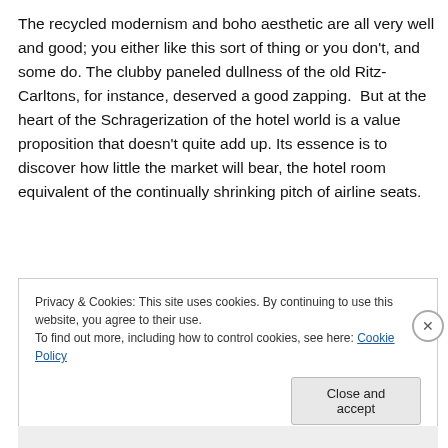The recycled modernism and boho aesthetic are all very well and good; you either like this sort of thing or you don't, and some do. The clubby paneled dullness of the old Ritz-Carltons, for instance, deserved a good zapping. But at the heart of the Schragerization of the hotel world is a value proposition that doesn't quite add up. Its essence is to discover how little the market will bear, the hotel room equivalent of the continually shrinking pitch of airline seats.
Privacy & Cookies: This site uses cookies. By continuing to use this website, you agree to their use.
To find out more, including how to control cookies, see here: Cookie Policy
Close and accept